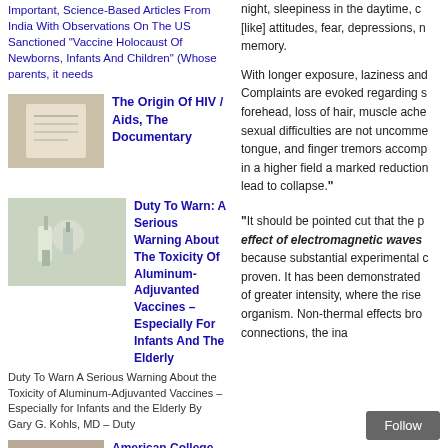Important, Science-Based Articles From India With Observations On The US Sanctioned "Vaccine Holocaust Of Newborns, Infants And Children" (Whose parents, it needs
[Figure (photo): Photo thumbnail - needle/paper related image for HIV/AIDS documentary article]
The Origin Of HIV / Aids, The Documentary
[Figure (photo): Photo thumbnail - syringe/vaccine image for aluminum-adjuvanted vaccines article]
Duty To Warn: A Serious Warning About The Toxicity Of Aluminum-Adjuvanted Vaccines – Especially For Infants And The Elderly
Duty To Warn A Serious Warning About the Toxicity of Aluminum-Adjuvanted Vaccines – Especially for Infants and the Elderly By Gary G. Kohls, MD – Duty
[Figure (photo): Photo thumbnail - group of children for Gardasil HPV vaccine article]
American College Of Pediatricians Latest To Warn Of Gardasil HPV Vaccine Dangers
night, sleepiness in the daytime, c [like] attitudes, fear, depressions, n memory.
With longer exposure, laziness and Complaints are evoked regarding s forehead, loss of hair, muscle ache sexual difficulties are not uncomme tongue, and finger tremors accomp in a higher field a marked reduction lead to collapse."
"It should be pointed cut that the p effect of electromagnetic waves because substantial experimental c proven. It has been demonstrated of greater intensity, where the rise organism. Non-thermal effects bro connections, the ina